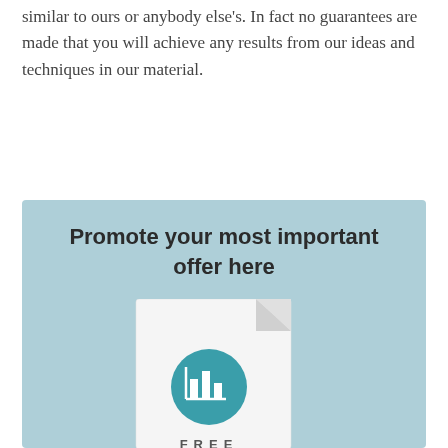similar to ours or anybody else's. In fact no guarantees are made that you will achieve any results from our ideas and techniques in our material.
Promote your most important offer here
[Figure (illustration): A document/report icon with a teal circle containing a bar chart icon, and the text FREE below it, shown on a light blue background]